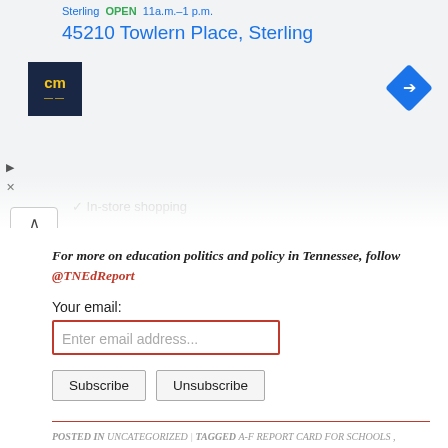[Figure (screenshot): Screenshot of a Google Maps or business listing showing address '45210 Towlern Place, Sterling' with a CM logo box (dark blue with yellow text) and a blue navigation diamond icon. Shows 'In-store shopping' text partially visible.]
For more on education politics and policy in Tennessee, follow @TNEdReport
Your email:
Enter email address...
Subscribe   Unsubscribe
POSTED IN UNCATEGORIZED | TAGGED A-F REPORT CARD FOR SCHOOLS , DONNA WRIGHT , TENNESSEE DEPARTMENT OF EDUCATION , WILSON COUNTY SCHOOLS | LEAVE A COMMENT |